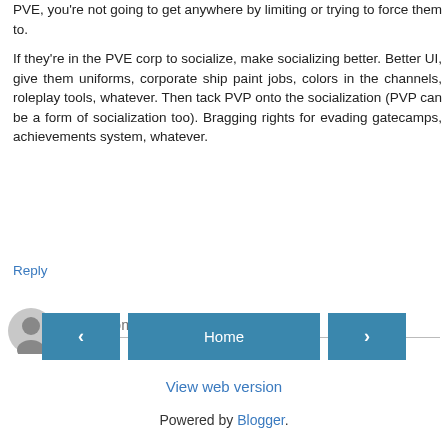PVE, you're not going to get anywhere by limiting or trying to force them to.

If they're in the PVE corp to socialize, make socializing better. Better UI, give them uniforms, corporate ship paint jobs, colors in the channels, roleplay tools, whatever. Then tack PVP onto the socialization (PVP can be a form of socialization too). Bragging rights for evading gatecamps, achievements system, whatever.
Reply
Enter Comment
Home
View web version
Powered by Blogger.